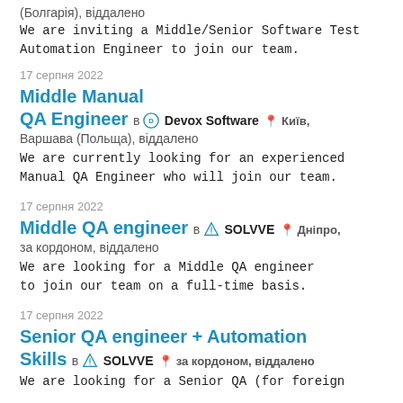(Болгарія), віддалено
We are inviting a Middle/Senior Software Test Automation Engineer to join our team.
17 серпня 2022
Middle Manual QA Engineer в Devox Software  Київ, Варшава (Польща), віддалено
We are currently looking for an experienced Manual QA Engineer who will join our team.
17 серпня 2022
Middle QA engineer в SOLVVE  Дніпро, за кордоном, віддалено
We are looking for a Middle QA engineer to join our team on a full-time basis.
17 серпня 2022
Senior QA engineer + Automation Skills в SOLVVE  за кордоном, віддалено
We are looking for a Senior QA (for foreign...